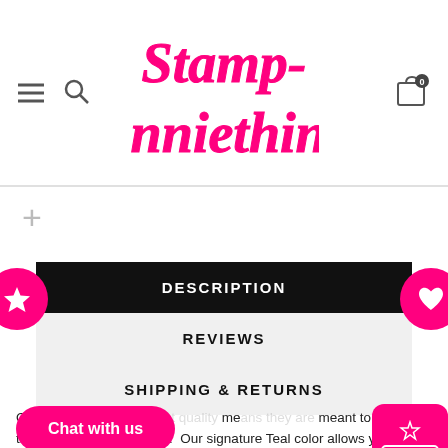Stamp Anniething — navigation header with logo, hamburger menu, search icon, and cart icon
[Figure (logo): Stamp Anniething logo in hot pink cursive/script font]
DESCRIPTION
REVIEWS
SHIPPING & RETURNS
Our dies are of the highest quality me... meant to last for thousands of impressions! Our signature Teal color allows you to fin...